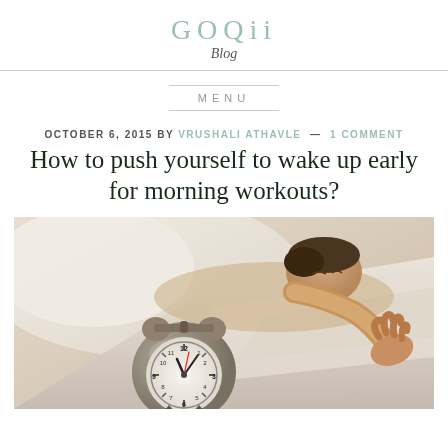GOQii Blog
MENU
OCTOBER 6, 2015 BY VRUSHALI ATHAVLE — 1 COMMENT
How to push yourself to wake up early for morning workouts?
[Figure (photo): A person lying in bed reaching out to turn off a vintage alarm clock showing early morning time, white bedding background]